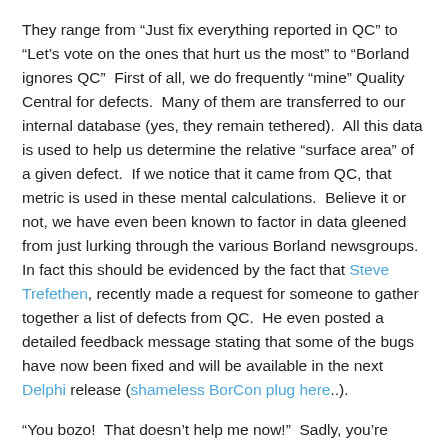They range from “Just fix everything reported in QC” to “Let’s vote on the ones that hurt us the most” to “Borland ignores QC”  First of all, we do frequently “mine” Quality Central for defects.  Many of them are transferred to our internal database (yes, they remain tethered).  All this data is used to help us determine the relative “surface area” of a given defect.  If we notice that it came from QC, that metric is used in these mental calculations.  Believe it or not, we have even been known to factor in data gleened from just lurking through the various Borland newsgroups.  In fact this should be evidenced by the fact that Steve Trefethen, recently made a request for someone to gather together a list of defects from QC.  He even posted a detailed feedback message stating that some of the bugs have now been fixed and will be available in the next Delphi release (shameless BorCon plug here..).
“You bozo!  That doesn’t help me now!”  Sadly, you’re right.  But then again, if you’d followed along to this point you’d have seen that there are a lot of factors that go into deciding what we fix and what we don’t and why.  Then there is also the fact that we can’t fix what we don’t know about.  Also,